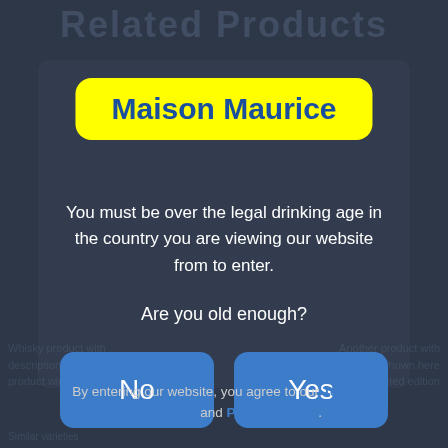Related Products
Maison Maurice
You must be over the legal drinking age in the country you are viewing our website from to enter.
Are you old enough?
No
Yes
By entering our website, you agree to our Terms & Conditions and Privacy Policy.